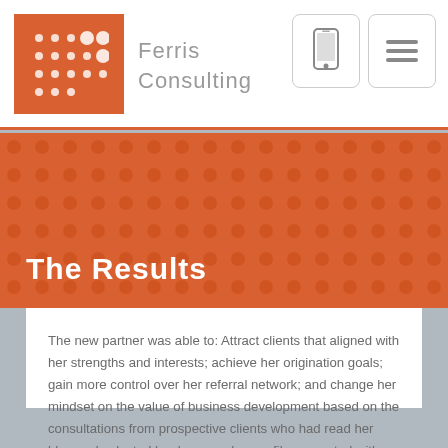Ferris Consulting
The Results
The new partner was able to: Attract clients that aligned with her strengths and interests; achieve her origination goals; gain more control over her referral network; and change her mindset on the value of business development based on the consultations from prospective clients who had read her blog and selected her because her profile resonated with them. Since she was able to convey the types of work she does best, she attracted clients whose need matched her expertise.